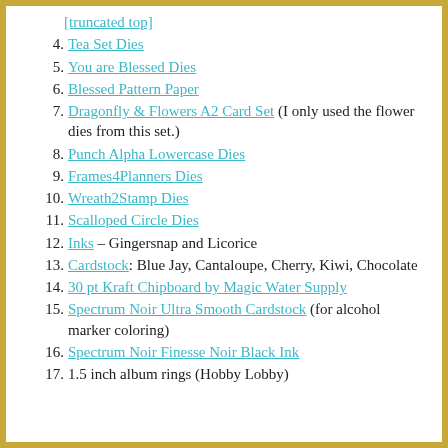4. Tea Set Dies
5. You are Blessed Dies
6. Blessed Pattern Paper
7. Dragonfly & Flowers A2 Card Set (I only used the flower dies from this set.)
8. Punch Alpha Lowercase Dies
9. Frames4Planners Dies
10. Wreath2Stamp Dies
11. Scalloped Circle Dies
12. Inks – Gingersnap and Licorice
13. Cardstock: Blue Jay, Cantaloupe, Cherry, Kiwi, Chocolate
14. 30 pt Kraft Chipboard by Magic Water Supply
15. Spectrum Noir Ultra Smooth Cardstock (for alcohol marker coloring)
16. Spectrum Noir Finesse Noir Black Ink
17. 1.5 inch album rings (Hobby Lobby)